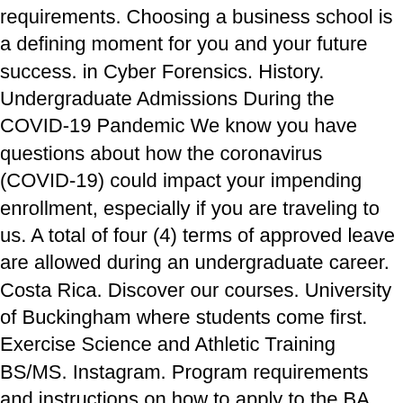requirements. Choosing a business school is a defining moment for you and your future success. in Cyber Forensics. History. Undergraduate Admissions During the COVID-19 Pandemic We know you have questions about how the coronavirus (COVID-19) could impact your impending enrollment, especially if you are traveling to us. A total of four (4) terms of approved leave are allowed during an undergraduate career. Costa Rica. Discover our courses. University of Buckingham where students come first. Exercise Science and Athletic Training BS/MS. Instagram. Program requirements and instructions on how to apply to the BA can be found in UB's Undergraduate Degree & Course Catalog. Twitter. YouTube. Make the most of it at UB. 1/28/20. 7/24/20 Fall Courses; 9/30/20 Winter Session; 12/9/20 Spring Courses; 5/11/20 Summer Session; 7/23/20 Course Archive; UB Undergraduate Catalog. These plans list all of the required courses needed to complete the degree. Assist the student with understanding the academic and administrative processes